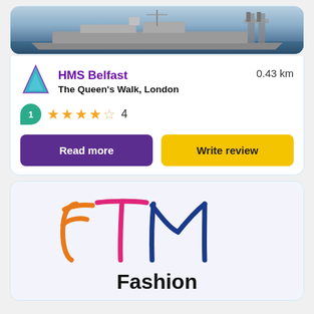[Figure (photo): HMS Belfast warship moored on the Thames river, with Tower Bridge visible in the background]
HMS Belfast
The Queen's Walk, London
0.43 km
1 (review count badge), 4 star rating out of 5, 4 reviews
Read more
Write review
[Figure (logo): FTM Fashion and Textile Museum logo with colorful hand-drawn style letters F, T, M and the text 'Fashion' below]